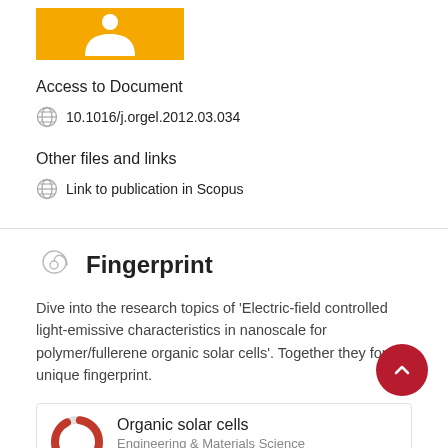[Figure (logo): Yellow rectangular logo with white figure/person icon]
Access to Document
10.1016/j.orgel.2012.03.034
Other files and links
Link to publication in Scopus
Fingerprint
Dive into the research topics of 'Electric-field controlled light-emissive characteristics in nanoscale for polymer/fullerene organic solar cells'. Together they form a unique fingerprint.
Organic solar cells
Engineering & Materials Science